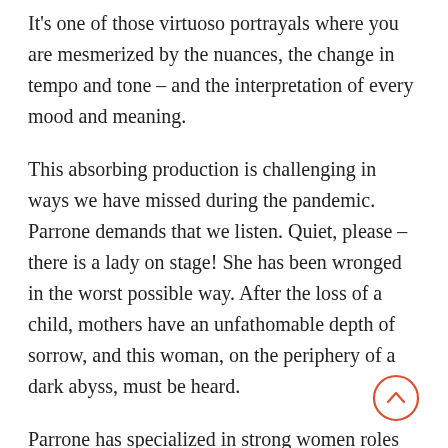It's one of those virtuoso portrayals where you are mesmerized by the nuances, the change in tempo and tone – and the interpretation of every mood and meaning.
This absorbing production is challenging in ways we have missed during the pandemic. Parrone demands that we listen. Quiet, please – there is a lady on stage! She has been wronged in the worst possible way. After the loss of a child, mothers have an unfathomable depth of sorrow, and this woman, on the periphery of a dark abyss, must be heard.
Parrone has specialized in strong women roles during the past few years, particularly at Tesseract, and one of her finest performances